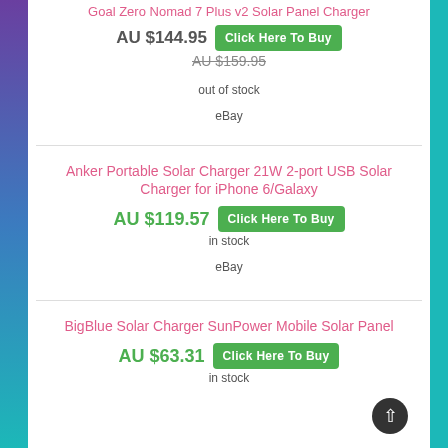Goal Zero Nomad 7 Plus v2 Solar Panel Charger
AU $144.95
Click Here To Buy
AU $159.95
out of stock
eBay
Anker Portable Solar Charger 21W 2-port USB Solar Charger for iPhone 6/Galaxy
AU $119.57
Click Here To Buy
in stock
eBay
BigBlue Solar Charger SunPower Mobile Solar Panel
AU $63.31
Click Here To Buy
in stock